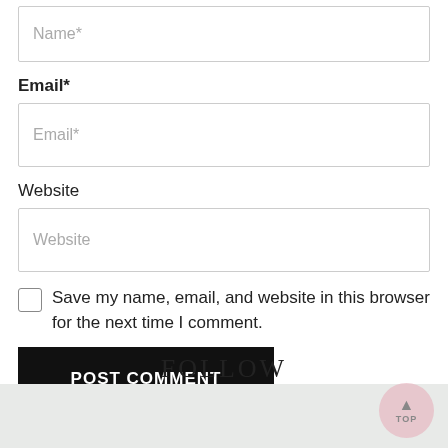[Figure (screenshot): Name input field (partially visible at top of page) with placeholder text 'Name*']
Email*
[Figure (screenshot): Email input field with placeholder text 'Email*']
Website
[Figure (screenshot): Website input field with placeholder text 'Website']
Save my name, email, and website in this browser for the next time I comment.
[Figure (screenshot): POST COMMENT button in black with white text]
FOLLOW
[Figure (screenshot): Back-to-top button circle (pink/rose color) with up arrow and 'TOP' label, in bottom-right corner over gray footer bar]